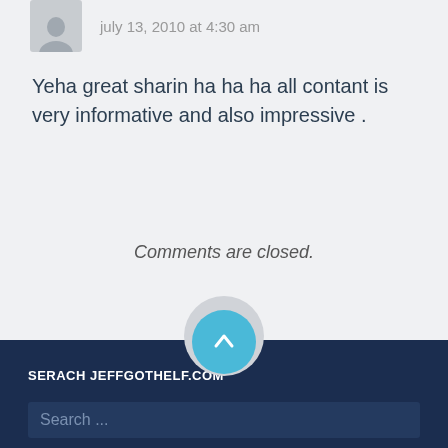july 13, 2010 at 4:30 am
Yeha great sharin ha ha ha all contant is very informative and also impressive .
Comments are closed.
SERACH JEFFGOTHELF.COM
Search ...